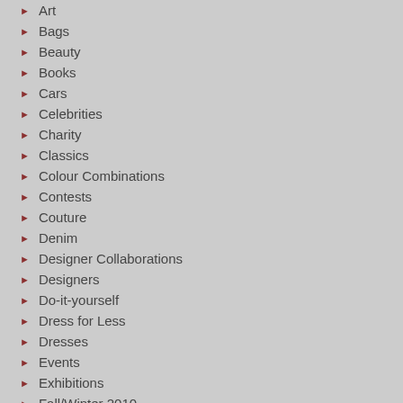Art
Bags
Beauty
Books
Cars
Celebrities
Charity
Classics
Colour Combinations
Contests
Couture
Denim
Designer Collaborations
Designers
Do-it-yourself
Dress for Less
Dresses
Events
Exhibitions
Fall/Winter 2010
Fall/Winter 2011
Fall/Winter 2012
Fall/Winter 2013
this fragrance, blending bergamot, red fr… create three rare cho…